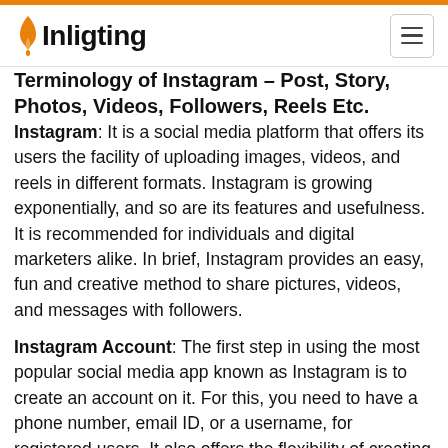Inligting
Terminology of Instagram – Post, Story, Photos, Videos, Followers, Reels Etc.
Instagram: It is a social media platform that offers its users the facility of uploading images, videos, and reels in different formats. Instagram is growing exponentially, and so are its features and usefulness. It is recommended for individuals and digital marketers alike. In brief, Instagram provides an easy, fun and creative method to share pictures, videos, and messages with followers.
Instagram Account: The first step in using the most popular social media app known as Instagram is to create an account on it. For this, you need to have a phone number, email ID, or a username, for registered users. It also offers the flexibility of creating your account by logging in with your